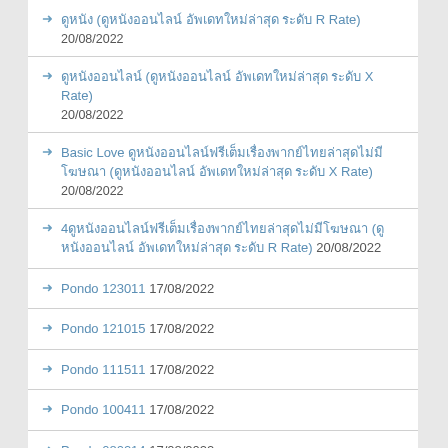ดูหนัง (ดูหนังออนไลน์ อัพเดทใหม่ล่าสุด ระดับ R Rate) 20/08/2022
ดูหนังออนไลน์ (ดูหนังออนไลน์ อัพเดทใหม่ล่าสุด ระดับ X Rate) 20/08/2022
Basic Love ดูหนังออนไลน์ฟรีเต็มเรื่องพากย์ไทยล่าสุดไม่มีโฆษณา (ดูหนังออนไลน์ อัพเดทใหม่ล่าสุด ระดับ X Rate) 20/08/2022
4ดูหนังออนไลน์ฟรีเต็มเรื่องพากย์ไทยล่าสุดไม่มีโฆษณา (ดูหนังออนไลน์ อัพเดทใหม่ล่าสุด ระดับ R Rate) 20/08/2022
Pondo 123011 17/08/2022
Pondo 121015 17/08/2022
Pondo 111511 17/08/2022
Pondo 100411 17/08/2022
Pondo 080214 17/08/2022
Pondo 050109 14/08/2022
HEYZO 0537 14/08/2022